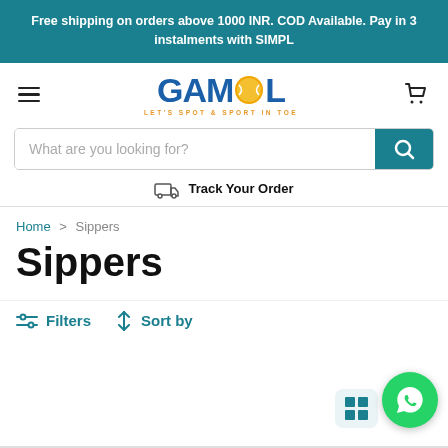Free shipping on orders above 1000 INR. COD Available. Pay in 3 instalments with SIMPL
[Figure (logo): Gambol logo with tennis ball replacing letter O, tagline LET'S SPOT & SPORT IN TOE]
What are you looking for?
Track Your Order
Home > Sippers
Sippers
Filters   Sort by
[Figure (other): WhatsApp contact button (green circle with phone icon) and grid view icon]